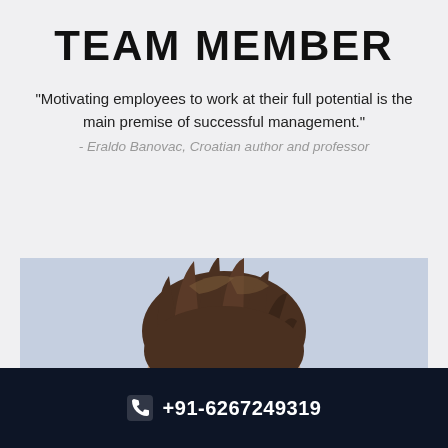TEAM MEMBER
“Motivating employees to work at their full potential is the main premise of successful management.”
- Eraldo Banovac, Croatian author and professor
[Figure (photo): Young man with short spiky brown hair photographed against a light blue/periwinkle background, cropped to show head and upper face]
+91-6267249319